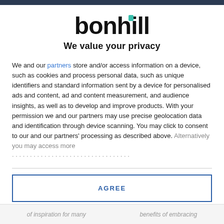[Figure (logo): Bonhill logo with teal accent mark above the letter 'i']
We value your privacy
We and our partners store and/or access information on a device, such as cookies and process personal data, such as unique identifiers and standard information sent by a device for personalised ads and content, ad and content measurement, and audience insights, as well as to develop and improve products. With your permission we and our partners may use precise geolocation data and identification through device scanning. You may click to consent to our and our partners' processing as described above. Alternatively you may access more ...
AGREE
MORE OPTIONS
of inspiration for many
benefits of embracing